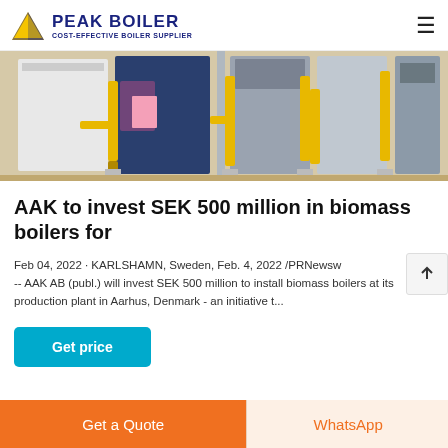PEAK BOILER COST-EFFECTIVE BOILER SUPPLIER
[Figure (photo): Industrial biomass boilers in a production facility — white and dark blue boiler units with yellow pipe fittings on a concrete floor]
AAK to invest SEK 500 million in biomass boilers for
Feb 04, 2022 · KARLSHAMN, Sweden, Feb. 4, 2022 /PRNewsw -- AAK AB (publ.) will invest SEK 500 million to install biomass boilers at its production plant in Aarhus, Denmark - an initiative t...
Get price
Get a Quote
WhatsApp